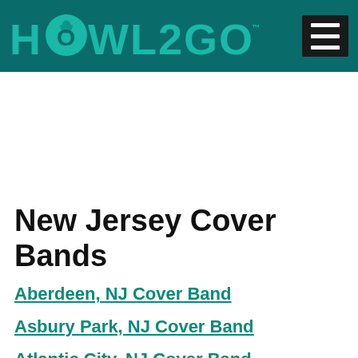[Figure (logo): HOWL2GO logo in teal on dark teal background header bar with hamburger menu icon on the right]
New Jersey Cover Bands
Aberdeen, NJ Cover Band
Asbury Park, NJ Cover Band
Atlantic City, NJ Cover Band
Barnegat, NJ Cover Band